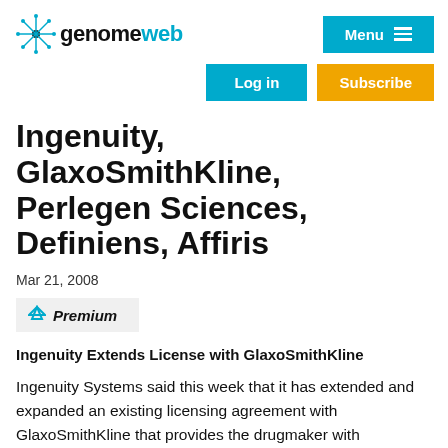genomeweb | Menu | Log in | Subscribe
Ingenuity, GlaxoSmithKline, Perlegen Sciences, Definiens, Affiris
Mar 21, 2008
Premium
Ingenuity Extends License with GlaxoSmithKline
Ingenuity Systems said this week that it has extended and expanded an existing licensing agreement with GlaxoSmithKline that provides the drugmaker with